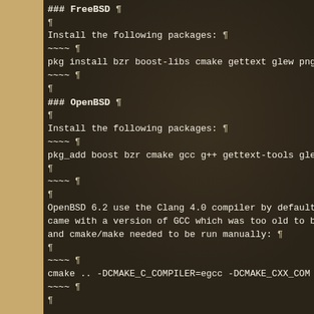### FreeBSD ¶
¶
Install the following packages: ¶
~~~~ ¶
pkg install bzr boost-libs cmake gettext glew png sdl2_image sdl2...
~~~~ ¶
¶
### OpenBSD ¶
¶
Install the following packages: ¶
~~~~ ¶
pkg_add boost bzr cmake gcc g++ gettext-tools glew icu4c libexe...
¶
~~~~ ¶
¶
OpenBSD 6.2 use the Clang 4.0 compiler by default which can bu... came with a version of GCC which was too old to build Widelands... and cmake/make needed to be run manually: ¶
¶
~~~~ ¶
cmake .. -DCMAKE_C_COMPILER=egcc -DCMAKE_CXX_COM...
~~~~ ¶
¶